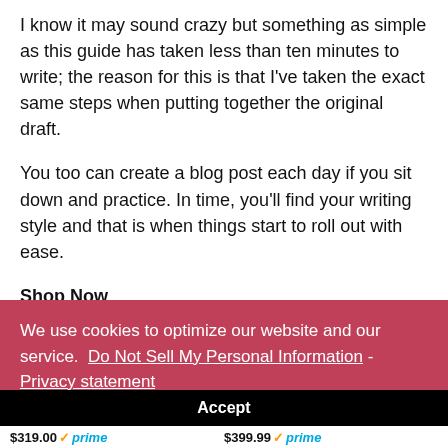I know it may sound crazy but something as simple as this guide has taken less than ten minutes to write; the reason for this is that I've taken the exact same steps when putting together the original draft.
You too can create a blog post each day if you sit down and practice. In time, you'll find your writing style and that is when things start to roll out with ease.
Shop Now
We use cookies to optimize our website and our service.  Do Not Sell My Personal Information - Privacy statement
Accept
$319.00  prime    $399.99  prime